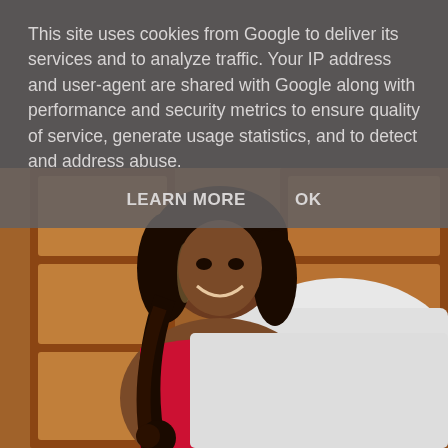This site uses cookies from Google to deliver its services and to analyze traffic. Your IP address and user-agent are shared with Google along with performance and security metrics to ensure quality of service, generate usage statistics, and to detect and address abuse.
LEARN MORE    OK
[Figure (photo): A smiling woman with long curly highlighted hair wearing a red outfit, sitting on a white bed in front of wooden cabinet doors.]